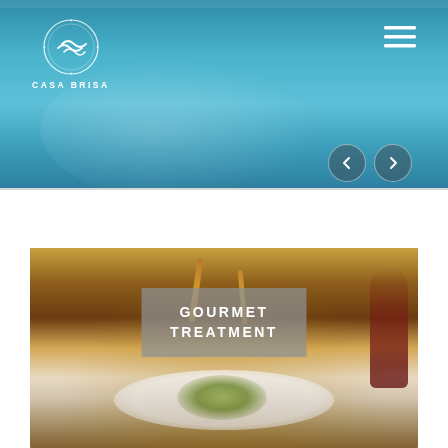[Figure (photo): Swimming pool hero image with blue water, top section of website for Casa Brisa hotel]
[Figure (logo): Casa Brisa circular logo with wind/breeze motif and text CASA BRISA below in white]
[Figure (infographic): Hamburger/menu icon (three horizontal white lines) in top right corner]
[Figure (infographic): Navigation left and right arrow buttons (circular dark semi-transparent buttons) for image slider]
[Figure (photo): Gourmet food photo showing herb-crusted rack of lamb on white plate with green beans and red wine glass, with semi-transparent overlay label reading GOURMET TREATMENT]
GOURMET TREATMENT